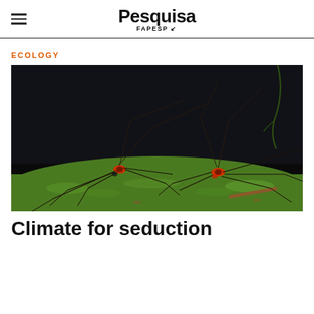Pesquisa FAPESP
ECOLOGY
[Figure (photo): Two long-legged harvestmen (opiliones/daddy longlegs) with reddish-orange bodies and very long thin black legs, standing on a mossy green surface against a dark blurred background.]
Climate for seduction